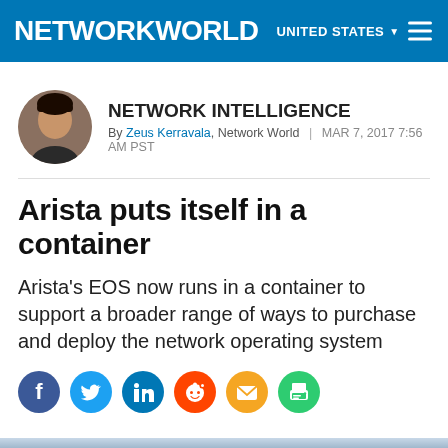NETWORKWORLD  UNITED STATES
NETWORK INTELLIGENCE
By Zeus Kerravala, Network World | MAR 7, 2017 7:56 AM PST
Arista puts itself in a container
Arista's EOS now runs in a container to support a broader range of ways to purchase and deploy the network operating system
[Figure (infographic): Social media sharing icons: Facebook (blue), Twitter (light blue), LinkedIn (blue), Reddit (orange-red), Email (yellow), Print (green)]